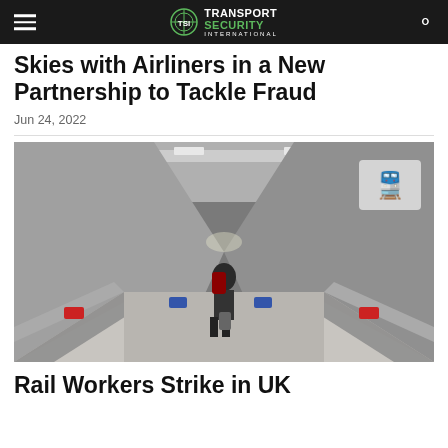Transport Security International
Skies with Airliners in a New Partnership to Tackle Fraud
Jun 24, 2022
[Figure (photo): Moving walkway or travelator in an airport corridor viewed from behind a person walking with luggage. The tunnel is lined with metallic walls and overhead strip lighting creating a perspective vanishing point.]
Rail Workers Strike in UK